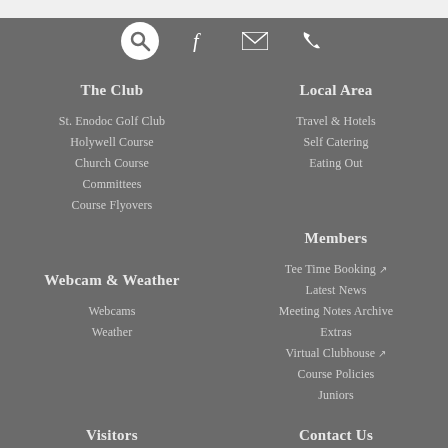[Figure (infographic): Row of four icons: search (circle with magnifying glass), Facebook f, envelope/email, phone handset — all white on gray background]
The Club
St. Enodoc Golf Club
Holywell Course
Church Course
Committees
Course Flyovers
Local Area
Travel & Hotels
Self Catering
Eating Out
Webcam & Weather
Webcams
Weather
Members
Tee Time Booking ↗
Latest News
Meeting Notes Archive
Extras
Virtual Clubhouse ↗
Course Policies
Juniors
Visitors
Contact Us